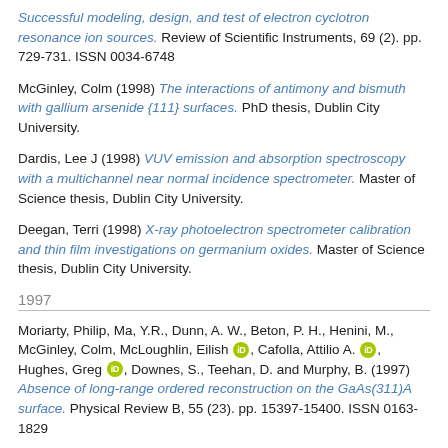Successful modeling, design, and test of electron cyclotron resonance ion sources. Review of Scientific Instruments, 69 (2). pp. 729-731. ISSN 0034-6748
McGinley, Colm (1998) The interactions of antimony and bismuth with gallium arsenide {111} surfaces. PhD thesis, Dublin City University.
Dardis, Lee J (1998) VUV emission and absorption spectroscopy with a multichannel near normal incidence spectrometer. Master of Science thesis, Dublin City University.
Deegan, Terri (1998) X-ray photoelectron spectrometer calibration and thin film investigations on germanium oxides. Master of Science thesis, Dublin City University.
1997
Moriarty, Philip, Ma, Y.R., Dunn, A. W., Beton, P. H., Henini, M., McGinley, Colm, McLoughlin, Eilish [orcid], Cafolla, Attilio A. [orcid], Hughes, Greg [orcid], Downes, S., Teehan, D. and Murphy, B. (1997) Absence of long-range ordered reconstruction on the GaAs(311)A surface. Physical Review B, 55 (23). pp. 15397-15400. ISSN 0163-1829
Boilson, Deirdre (1997) Automation by PC interface of a multicusp volume ion source, Denise. Master of Science thesis, Dublin City